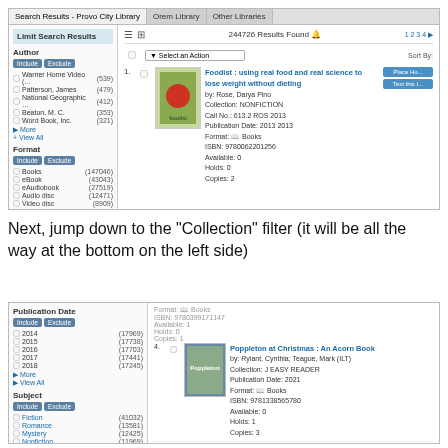[Figure (screenshot): Screenshot of Provo City Library catalog search results page showing 'Limit Search Results' panel on left with Author and Format filters, and a book entry for 'Foodist: using real food and real science to lose weight without dieting' on the right, with 244726 results found.]
Next, jump down to the "Collection" filter (it will be all the way at the bottom on the left side)
[Figure (screenshot): Screenshot of library catalog showing Publication Date filter (2014-2018) and Subject filter (Fiction, Romance, Mystery, Nonfiction, Literature) on left side, and book entries for 'Poppleton at Christmas: An Acorn Book' (item 4) and 'My America' (item 5) on right side. Collection filter header visible at bottom.]